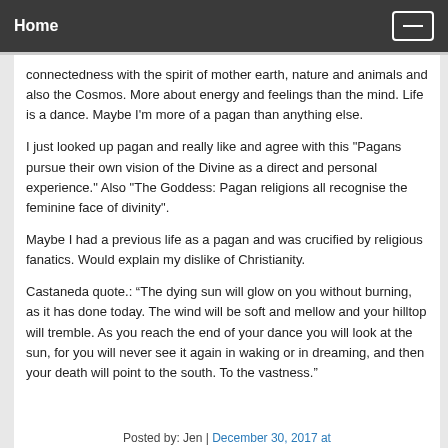Home
connectedness with the spirit of mother earth, nature and animals and also the Cosmos. More about energy and feelings than the mind. Life is a dance. Maybe I'm more of a pagan than anything else.
I just looked up pagan and really like and agree with this "Pagans pursue their own vision of the Divine as a direct and personal experience." Also "The Goddess: Pagan religions all recognise the feminine face of divinity".
Maybe I had a previous life as a pagan and was crucified by religious fanatics. Would explain my dislike of Christianity.
Castaneda quote.: “The dying sun will glow on you without burning, as it has done today. The wind will be soft and mellow and your hilltop will tremble. As you reach the end of your dance you will look at the sun, for you will never see it again in waking or in dreaming, and then your death will point to the south. To the vastness.”
Posted by: Jen | December 30, 2017 at